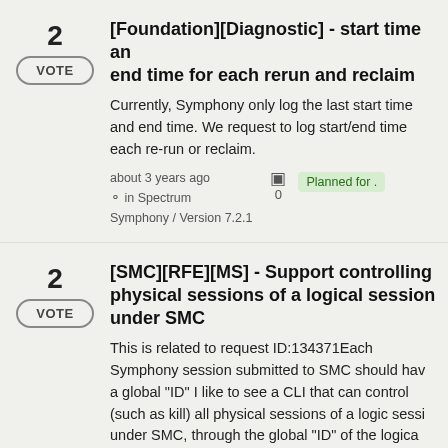2 VOTE [Foundation][Diagnostic] - start time and end time for each rerun and reclaim. Currently, Symphony only log the last start time and end time. We request to log start/end time each re-run or reclaim. about 3 years ago in Spectrum Symphony / Version 7.2.1. 0 comments. Planned for.
2 VOTE [SMC][RFE][MS] - Support controlling physical sessions of a logical session under SMC. This is related to request ID:134371Each Symphony session submitted to SMC should have a global "ID" I like to see a CLI that can control (such as kill) all physical sessions of a logic session under SMC, through the global "ID" of the logical ses... about 3 years ago in Spectrum. Planned for.